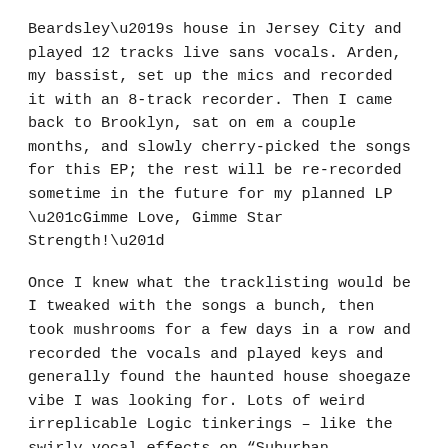Beardsley's house in Jersey City and played 12 tracks live sans vocals. Arden, my bassist, set up the mics and recorded it with an 8-track recorder. Then I came back to Brooklyn, sat on em a couple months, and slowly cherry-picked the songs for this EP; the rest will be re-recorded sometime in the future for my planned LP “Gimme Love, Gimme Star Strength!”
Once I knew what the tracklisting would be I tweaked with the songs a bunch, then took mushrooms for a few days in a row and recorded the vocals and played keys and generally found the haunted house shoegaze vibe I was looking for. Lots of weird irreplicable Logic tinkerings – like the swirly vocal effects on “Suburban Girlfriend,” which I did by playing the